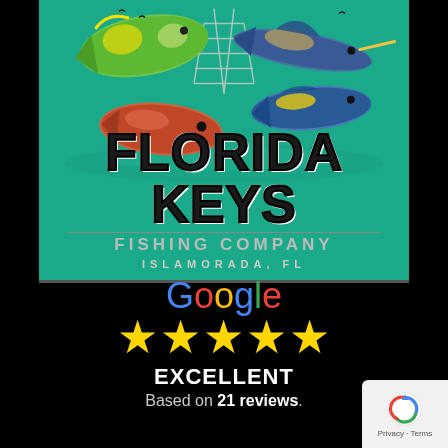[Figure (logo): Florida Keys Fishing Company logo with illustrated fish (mahi-mahi, marlin, tuna, snapper) on teal/turquoise background with a fishing rig tower structure. Text reads FLORIDA KEYS in large bold black letters, FISHING COMPANY in gray spaced letters, ISLAMORADA, FL below.]
Google
[Figure (other): Five gold star rating icons]
EXCELLENT
Based on 21 reviews.